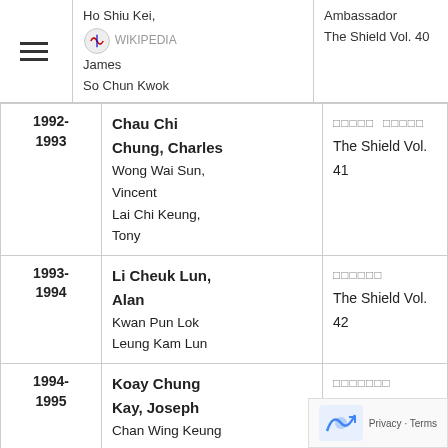Ho Shiu Kei, James / So Chun Kwok | Ambassador / The Shield Vol. 40
| Year | Name / Members | Publication |
| --- | --- | --- |
| 1992-1993 | Chau Chi Chung, Charles
Wong Wai Sun, Vincent
Lai Chi Keung, Tony | □□□□□ □□□□□
The Shield Vol. 41 |
| 1993-1994 | Li Cheuk Lun, Alan
Kwan Pun Lok
Leung Kam Lun | □□□□□□
The Shield Vol. 42 |
| 1994-1995 | Koay Chung Kay, Joseph
Chan Wing Keung
Cheng Chung
Hon, Christopher | □□□□□□□
The Shield Vol. 43 |
| 1995-1996 | Kwong Chi Yeung, Sunnie |  |